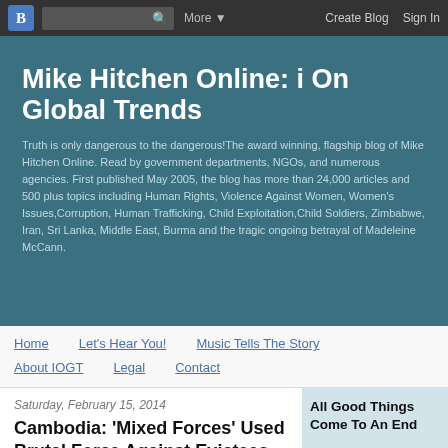Blogger navigation bar with logo, search, More, Create Blog, Sign In
Mike Hitchen Online: i On Global Trends
Truth is only dangerous to the dangerous!The award winning, flagship blog of Mike Hitchen Online. Read by government departments, NGOs, and numerous agencies. First published May 2005, the blog has more than 24,000 articles and 500 plus topics including Human Rights, Violence Against Women, Women's Issues,Corruption, Human Trafficking, Child Exploitation,Child Soldiers, Zimbabwe, Iran, Sri Lanka, Middle East, Burma and the tragic ongoing betrayal of Madeleine McCann.
Home
Let's Hear You!
Music Tells The Story
About IOGT
Legal
Contact
Saturday, February 15, 2014
Cambodia: 'Mixed Forces' Used Brutal Force Against Evictees and Residents
All Good Things Come To An End
Back in January 2012,